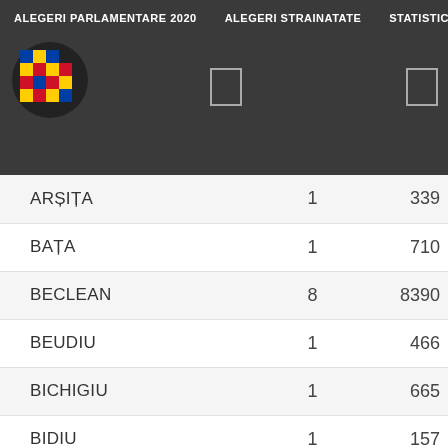ALEGERI PARLAMENTARE 2020   ALEGERI STRAINATATE   STATISTICI
| Localitate | Nr. | Total |
| --- | --- | --- |
| ARȘIȚA | 1 | 339 |
| BAȚA | 1 | 710 |
| BECLEAN | 8 | 8390 |
| BEUDIU | 1 | 466 |
| BICHIGIU | 1 | 665 |
| BIDIU | 1 | 157 |
| BISTRIȚA | 49 | 68573 |
| BISTRIȚA BÂRGĂULUI | 3 | 3392 |